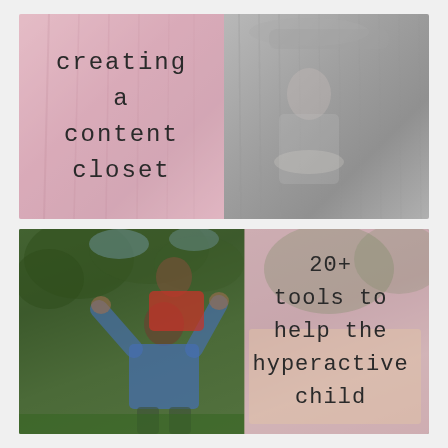[Figure (photo): Top image: split photo showing a child hiding behind curtains. Left half has pink/mauve overlay with text 'creating a content closet'. Right half is black and white showing curtains and a child.]
[Figure (photo): Bottom image: split photo showing an adult lifting a child outdoors in a green park setting. Left half shows the full color photo. Right half has a pink/mauve overlay with text '20+ tools to help the hyperactive child'.]